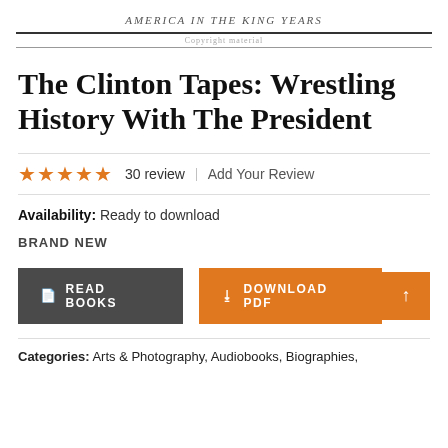AMERICA IN THE KING YEARS
Copyright material
The Clinton Tapes: Wrestling History With The President
★★★★★  30 review  |  Add Your Review
Availability: Ready to download
BRAND NEW
READ BOOKS  DOWNLOAD PDF
Categories: Arts & Photography, Audiobooks, Biographies,